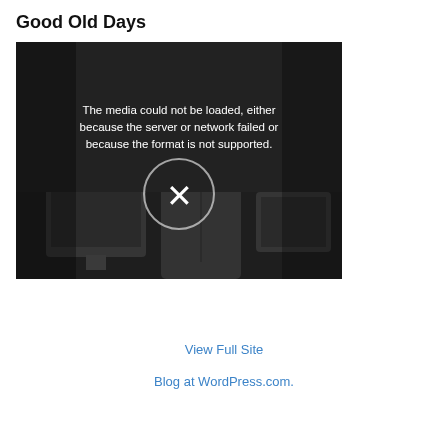Good Old Days
[Figure (screenshot): A video player showing a media load error message. The background shows a grayscale image of a person near an old CRT computer monitor. The video player displays the error: 'The media could not be loaded, either because the server or network failed or because the format is not supported.' with an X icon indicating playback failure.]
View Full Site
Blog at WordPress.com.